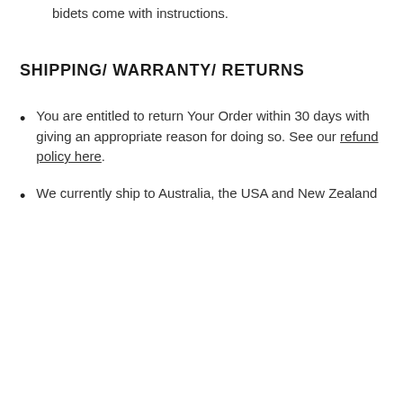bidets come with instructions.
SHIPPING/ WARRANTY/ RETURNS
You are entitled to return Your Order within 30 days with giving an appropriate reason for doing so. See our refund policy here.
We currently ship to Australia, the USA and New Zealand